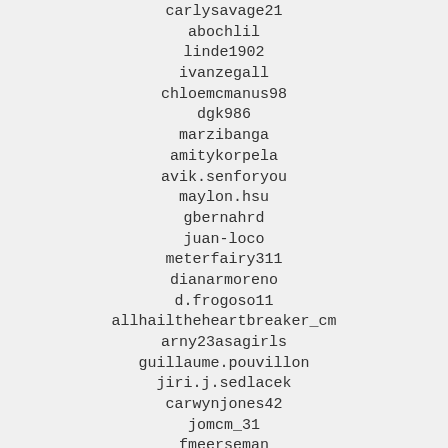carlysavage21
abochlil
linde1902
ivanzegall
chloemcmanus98
dgk986
marzibanga
amitykorpela
avik.senforyou
maylon.hsu
gbernahrd
juan-loco
meterfairy311
dianarmoreno
d.frogoso11
allhailtheheartbreaker_cm
arny23asagirls
guillaume.pouvillon
jiri.j.sedlacek
carwynjones42
jomcm_31
fmeerseman
merktina
hijaaaa
cristinabscordiscoroteriado